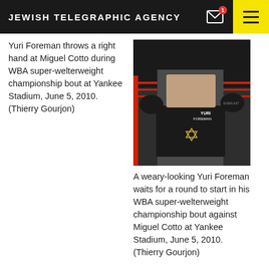JEWISH TELEGRAPHIC AGENCY
Yuri Foreman throws a right hand at Miguel Cotto during WBA super-welterweight championship bout at Yankee Stadium, June 5, 2010. (Thierry Gourjon)
[Figure (photo): Boxing photo of Yuri Foreman in the ring wearing black shorts with a Star of David, at Yankee Stadium]
A weary-looking Yuri Foreman waits for a round to start in his WBA super-welterweight championship bout against Miguel Cotto at Yankee Stadium, June 5, 2010. (Thierry Gourjon)
NEW YORK (JTA) — Yuri Foreman may have lost his first title defense, but the Orthodox Jewish boxer